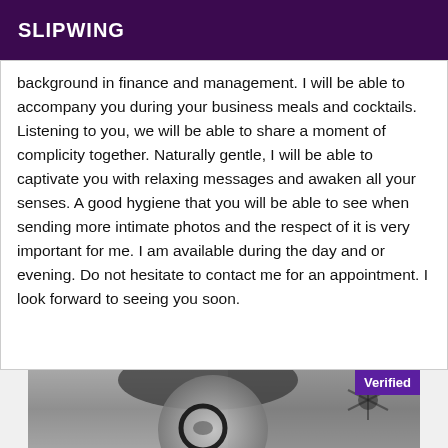SLIPWING
background in finance and management. I will be able to accompany you during your business meals and cocktails. Listening to you, we will be able to share a moment of complicity together. Naturally gentle, I will be able to captivate you with relaxing messages and awaken all your senses. A good hygiene that you will be able to see when sending more intimate photos and the respect of it is very important for me. I am available during the day and or evening. Do not hesitate to contact me for an appointment. I look forward to seeing you soon.
[Figure (photo): Black and white photo of a woman with glasses, partially cropped, with a 'Verified' badge in the upper right corner of the image.]